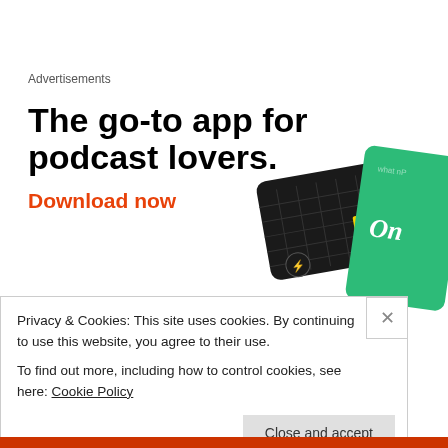Advertisements
[Figure (illustration): Advertisement for a podcast app showing bold headline 'The go-to app for podcast lovers.' with orange 'Download now' CTA and images of app cards on right side.]
That's when I really woke up. My passion was re-ignited in the way it always is when I know I'm at the beginning of
Privacy & Cookies: This site uses cookies. By continuing to use this website, you agree to their use.
To find out more, including how to control cookies, see here: Cookie Policy
Close and accept